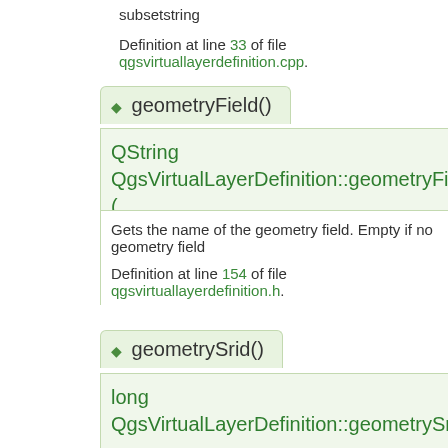represents a field with its name and its type subsetstring 11... subsetstring
Definition at line 33 of file qgsvirtuallayerdefinition.cpp.
◆ geometryField()
QString QgsVirtualLayerDefinition::geometryField (
Gets the name of the geometry field. Empty if no geometry field
Definition at line 154 of file qgsvirtuallayerdefinition.h.
◆ geometrySrid()
long QgsVirtualLayerDefinition::geometrySrid(